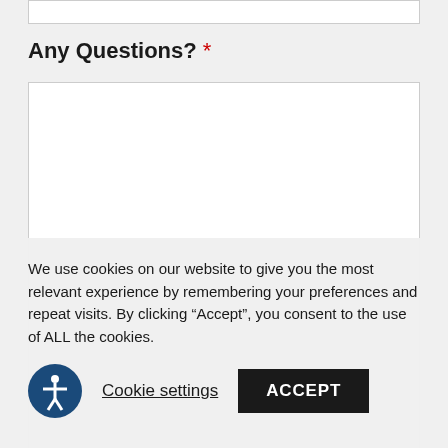[Figure (screenshot): Empty text input field at the top of the page]
Any Questions? *
[Figure (screenshot): Large empty textarea input box for user questions, with a resize handle in the bottom-right corner]
We use cookies on our website to give you the most relevant experience by remembering your preferences and repeat visits. By clicking “Accept”, you consent to the use of ALL the cookies.
Cookie settings | ACCEPT